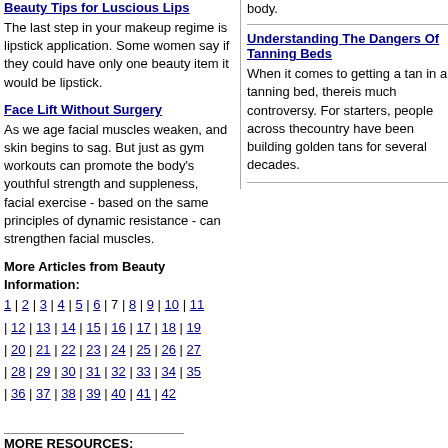Beauty Tips for Luscious Lips
The last step in your makeup regime is lipstick application. Some women say if they could have only one beauty item it would be lipstick.
Face Lift Without Surgery
As we age facial muscles weaken, and skin begins to sag. But just as gym workouts can promote the body's youthful strength and suppleness, facial exercise - based on the same principles of dynamic resistance - can strengthen facial muscles.
More Articles from Beauty Information:
1 | 2 | 3 | 4 | 5 | 6 | 7 | 8 | 9 | 10 | 11 | 12 | 13 | 14 | 15 | 16 | 17 | 18 | 19 | 20 | 21 | 22 | 23 | 24 | 25 | 26 | 27 | 28 | 29 | 30 | 31 | 32 | 33 | 34 | 35 | 36 | 37 | 38 | 39 | 40 | 41 | 42
MORE RESOURCES:
body.
Understanding The Dangers Of Tanning Beds
When it comes to getting a tan in a tanning bed, thereis much controversy. For starters, people across thecountry have been building golden tans for several decades.